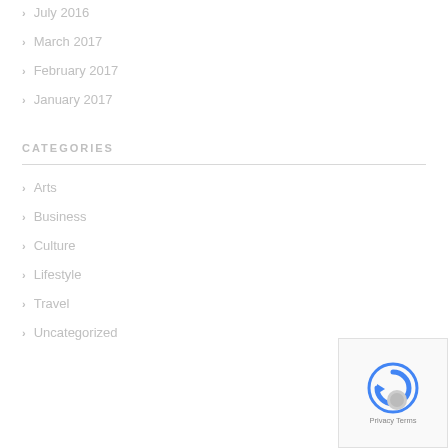July 2016
March 2017
February 2017
January 2017
CATEGORIES
Arts
Business
Culture
Lifestyle
Travel
Uncategorized
[Figure (other): reCAPTCHA badge with Privacy and Terms links]